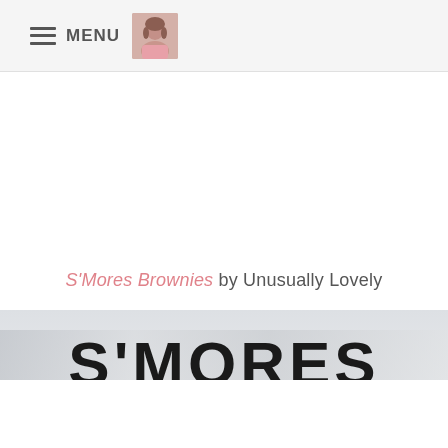MENU
S'Mores Brownies by Unusually Lovely
[Figure (photo): Partial view of a styled food blog image showing the text S'MORES in large bold black letters against a light gray/silver background, with a ghost italic repeat of the text and brownies below in lighter gray tones.]